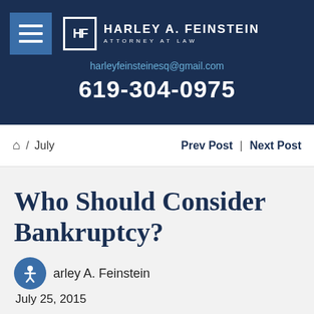HARLEY A. FEINSTEIN ATTORNEY AT LAW | harleyfeinsteinesq@gmail.com | 619-304-0975
🏠 / July    Prev Post | Next Post
Who Should Consider Bankruptcy?
Harley A. Feinstein
July 25, 2015